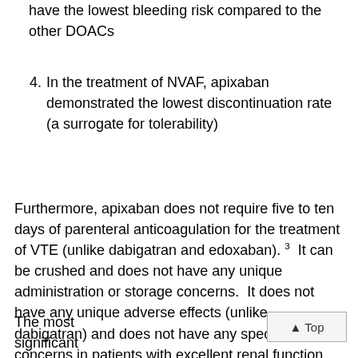have the lowest bleeding risk compared to the other DOACs
4. In the treatment of NVAF, apixaban demonstrated the lowest discontinuation rate (a surrogate for tolerability)
Furthermore, apixaban does not require five to ten days of parenteral anticoagulation for the treatment of VTE (unlike dabigatran and edoxaban). 3  It can be crushed and does not have any unique administration or storage concerns.  It does not have any unique adverse effects (unlike dabigatran) and does not have any specific concerns in patients with excellent renal function (unlike edoxaban).
The most significant downside to apixaban is that it requires twice daily dosing, whereas rivaroxaban and